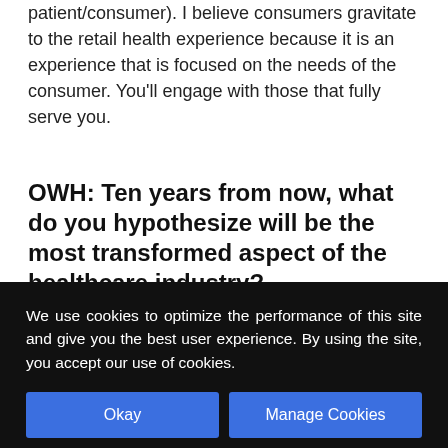patient/consumer). I believe consumers gravitate to the retail health experience because it is an experience that is focused on the needs of the consumer. You'll engage with those that fully serve you.
OWH: Ten years from now, what do you hypothesize will be the most transformed aspect of the healthcare industry?
We use cookies to optimize the performance of this site and give you the best user experience. By using the site, you accept our use of cookies.